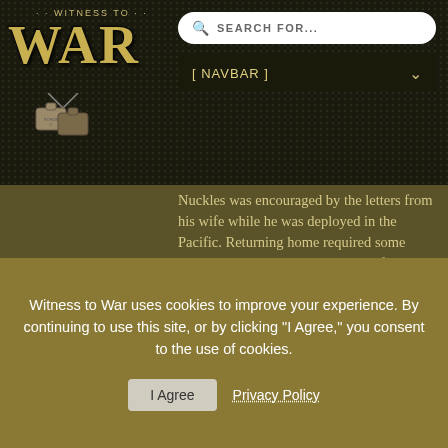WITNESS TO WAR
[Figure (screenshot): Witness to War website header with logo showing 'WITNESS TO WAR' with dog tag imagery, search bar reading 'SEARCH FOR...', and a navbar dropdown labeled '[ NAVBAR ]']
Nuckles was encouraged by the letters from his wife while he was deployed in the Pacific. Returning home required some transition time, getting used to the food and talking to people who weren't engaged in a war. He made it through with help from his faith.
[Figure (photo): Thumbnail photo of Ken Rohde, an elderly bald man, with a play button overlay on dark background]
KEN ROHDE - ARMY AIR CORPS +7 Total Videos 8th Air Force
Witness to War uses cookies to improve your experience. By continuing to use this site, or by clicking "I Agree," you consent to the use of cookies.
I Agree    Privacy Policy